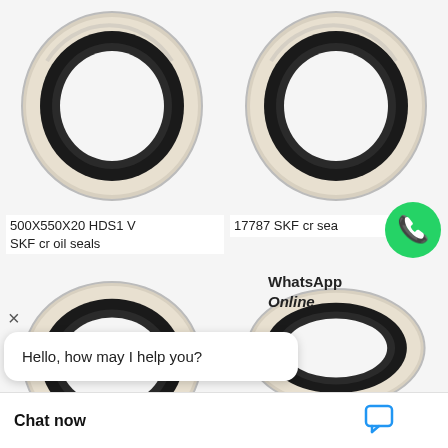[Figure (photo): Top-left: circular oil seal ring with black rubber and light metallic/beige body, 500X550X20 HDS1 V SKF cr oil seal]
500X550X20 HDS1 V SKF cr oil seals
[Figure (photo): Top-right: circular oil seal ring with black rubber and light metallic/beige body, 17787 SKF cr seal, with WhatsApp icon overlay and 'WhatsApp Online' text]
17787 SKF cr sea
WhatsApp Online
[Figure (photo): Bottom-left: circular oil seal ring with black rubber and light metallic/beige body, partially obscured by chat overlay]
[Figure (photo): Bottom-right: circular oil seal ring with black rubber and light metallic/beige body, 490X20 HDS1 R]
490X20 HDS1 R
Hello, how may I help you?
Chat now